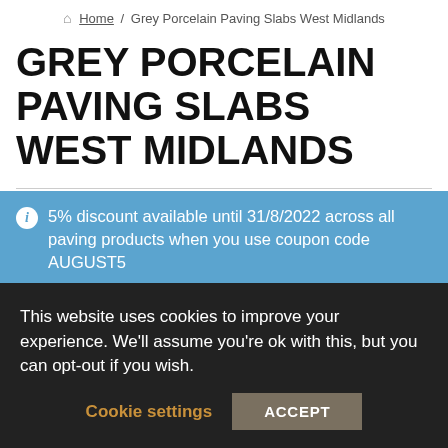Home / Grey Porcelain Paving Slabs West Midlands
GREY PORCELAIN PAVING SLABS WEST MIDLANDS
Grey Porcelain Paving Slabs, West Midlands, Hammer Grey, Earthcore Grey, Quartz Grey, Buy Garden Paving Slabs West Midlands England Indian Stone , Smooth Natural Sandstone , Vitrified Porcelain Paving , Cobble Setts , Kandla Silver Grey , Blac...
5% discount available until 31/8/2022 across all paving products when you use coupon code AUGUST5
This website uses cookies to improve your experience. We'll assume you're ok with this, but you can opt-out if you wish.